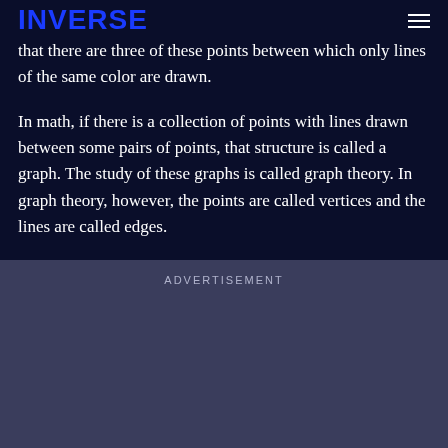INVERSE
point is connected to every other point by a line that's ... the blue-red show that there are three of these points between which only lines of the same color are drawn.
In math, if there is a collection of points with lines drawn between some pairs of points, that structure is called a graph. The study of these graphs is called graph theory. In graph theory, however, the points are called vertices and the lines are called edges.
ADVERTISEMENT